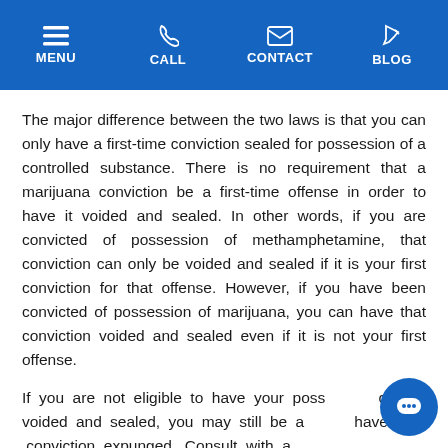MENU  CALL  CONTACT  BLOG
The major difference between the two laws is that you can only have a first-time conviction sealed for possession of a controlled substance. There is no requirement that a marijuana conviction be a first-time offense in order to have it voided and sealed. In other words, if you are convicted of possession of methamphetamine, that conviction can only be voided and sealed if it is your first conviction for that offense. However, if you have been convicted of possession of marijuana, you can have that conviction voided and sealed even if it is not your first offense.
If you are not eligible to have your possession charge voided and sealed, you may still be able to have the conviction expunged. Consult with a